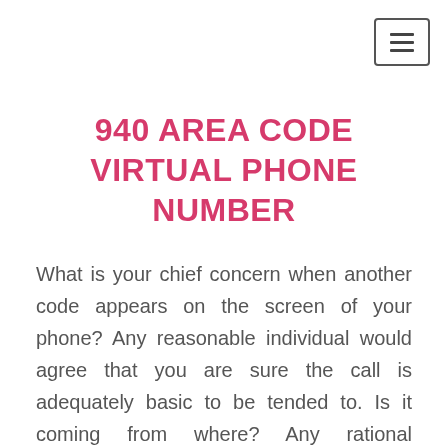[Figure (other): Hamburger menu button icon in top-right corner]
940 AREA CODE VIRTUAL PHONE NUMBER
What is your chief concern when another code appears on the screen of your phone? Any reasonable individual would agree that you are sure the call is adequately basic to be tended to. Is it coming from where? Any rational individual would agree that they are funnies or guaranteed?